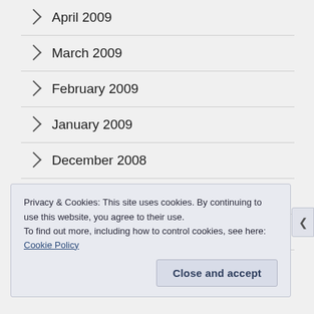April 2009
March 2009
February 2009
January 2009
December 2008
November 2008
October 2008
September 2008
Privacy & Cookies: This site uses cookies. By continuing to use this website, you agree to their use.
To find out more, including how to control cookies, see here: Cookie Policy
Close and accept